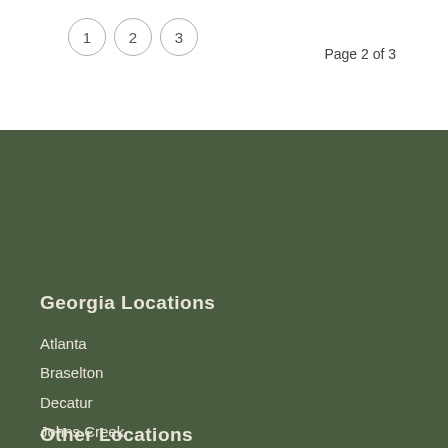1  2  3   Page 2 of 3
Georgia Locations
Atlanta
Braselton
Decatur
Johns Creek
Marietta
Sandy Springs
Woodstock
Other Locations